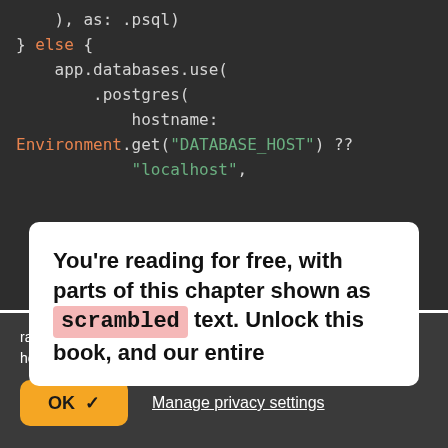), as: .psql)
} else {
    app.databases.use(
        .postgres(
            hostname:
Environment.get("DATABASE_HOST") ??
                "localhost",
You're reading for free, with parts of this chapter shown as scrambled text. Unlock this book, and our entire
raywenderlich.com and our partners use cookies to understand how you use our site and to serve you personalized content and ads. By continuing to use this site, you accept these cookies, our privacy policy and terms of service.
OK ✓   Manage privacy settings